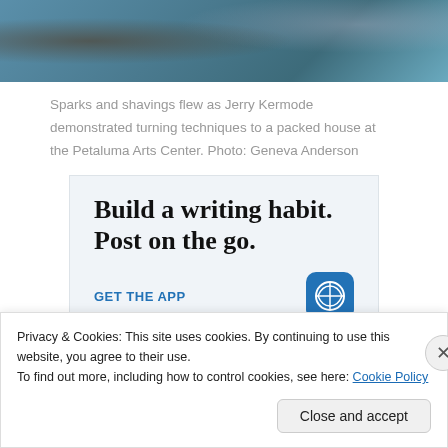[Figure (photo): Top portion of a photo showing people at a workshop, partial view with blue/teal background]
Sparks and shavings flew as Jerry Kermode demonstrated turning techniques to a packed house at the Petaluma Arts Center. Photo: Geneva Anderson
[Figure (screenshot): WordPress advertisement: Build a writing habit. Post on the go. GET THE APP with WordPress logo icon]
Privacy & Cookies: This site uses cookies. By continuing to use this website, you agree to their use. To find out more, including how to control cookies, see here: Cookie Policy
Close and accept